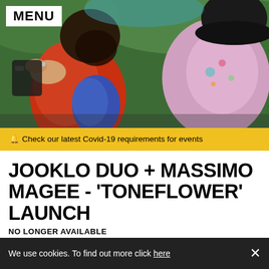[Figure (photo): Photo of musicians in colorful traditional clothing performing outdoors]
MENU
🔔 Check our latest Covid-19 requirements for events
JOOKLO DUO + MASSIMO MAGEE - 'TONEFLOWER' LAUNCH
NO LONGER AVAILABLE
"It's pretty undisputed at this point that the Jooklos (Virginia Ge... rd
We use cookies. To find out more click here